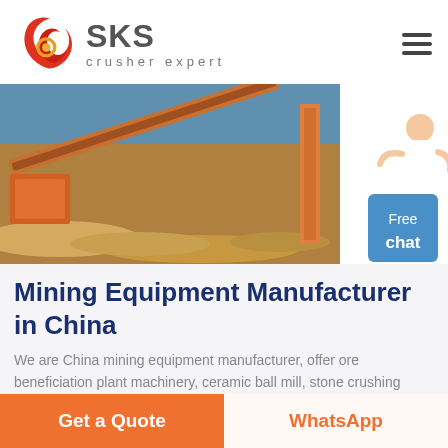[Figure (logo): SKS crusher expert logo with red flame/ribbon icon and grey SKS text, crusher expert tagline]
[Figure (photo): Industrial mining conveyor belt with orange gravel/rock material at a mining/crushing site]
[Figure (illustration): Free chat button with person icon on blue background]
Mining Equipment Manufacturer in China
We are China mining equipment manufacturer, offer ore beneficiation plant machinery, ceramic ball mill, stone crushing machine.
Get a Quote
WhatsApp